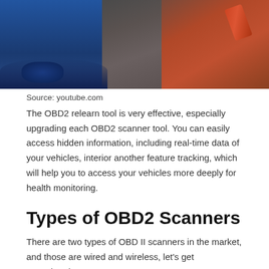[Figure (photo): Person holding an OBD2 scanner tool, with blue vehicles visible in the background in a garage/workshop setting]
Source: youtube.com
The OBD2 relearn tool is very effective, especially upgrading each OBD2 scanner tool. You can easily access hidden information, including real-time data of your vehicles, interior another feature tracking, which will help you to access your vehicles more deeply for health monitoring.
Types of OBD2 Scanners
There are two types of OBD II scanners in the market, and those are wired and wireless, let's get acquainted.
Wired
Wired OBD-II scanner plug is most commonly used; it is directly